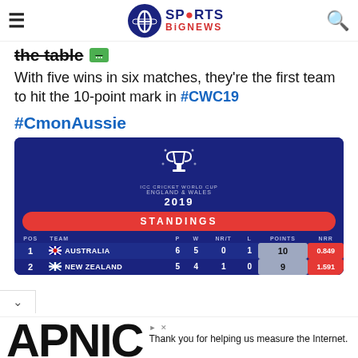Sports BigNews
the table
With five wins in six matches, they're the first team to hit the 10-point mark in #CWC19
#CmonAussie
[Figure (table-as-image): ICC Cricket World Cup England & Wales 2019 Standings table showing POS, TEAM, P, W, NR/T, L, POINTS, NRR. Row 1: 1, Australia, 6, 5, 0, 1, 10, 0.849. Row 2: 2, New Zealand, 5, 4, 1, 0, 9, 1.591]
Thank you for helping us measure the Internet.